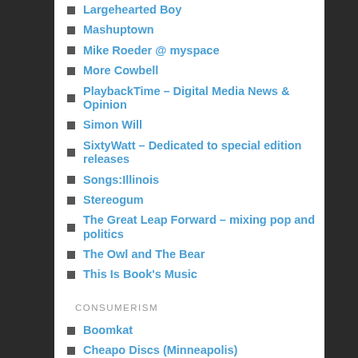Largehearted Boy
Mashuptown
Mike Roeder @ myspace
More Cowbell
PlaybackTime – Digital Media News & Opinion
Simon Will
SixtyWatt – Dedicated to special edition releases
Songs:Illinois
Stereogum
The Great Leap Forward – mixing pop and politics
The Owl and The Bear
This Is Book's Music
CONSUMERISM
Boomkat
Cheapo Discs (Minneapolis)
Hard Boiled Records (Chicago)
InSound
Laurie's Planet of Sound (Chicago)
Mad City Music Exchange (Madison, WI)
Moondog Music (Dubuque, IA)